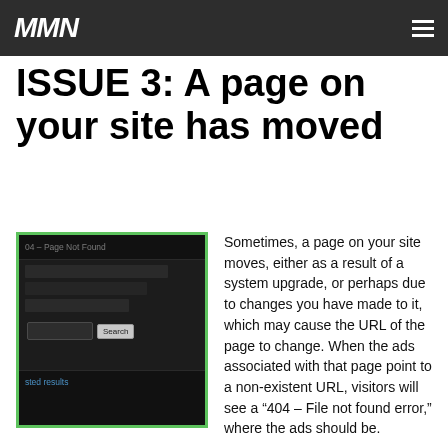MWN [logo] ≡
ISSUE 3:  A page on your site has moved
[Figure (screenshot): Screenshot of a 404 Page Not Found error page with a dark theme, showing a search bar with a 'Search' button and 'sted results' text at the bottom.]
Sometimes, a page on your site moves, either as a result of a system upgrade, or perhaps due to changes you have made to it, which may cause the URL of the page to change.  When the ads associated with that page point to a non-existent URL,  visitors will see a “404 – File not found error,” where the ads should be.